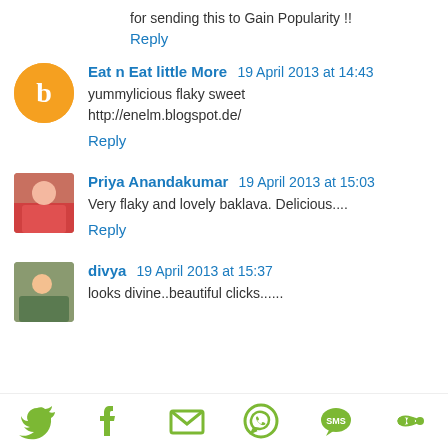for sending this to Gain Popularity !!
Reply
Eat n Eat little More  19 April 2013 at 14:43
yummylicious flaky sweet
http://enelm.blogspot.de/
Reply
Priya Anandakumar  19 April 2013 at 15:03
Very flaky and lovely baklava. Delicious....
Reply
divya  19 April 2013 at 15:37
looks divine..beautiful clicks......